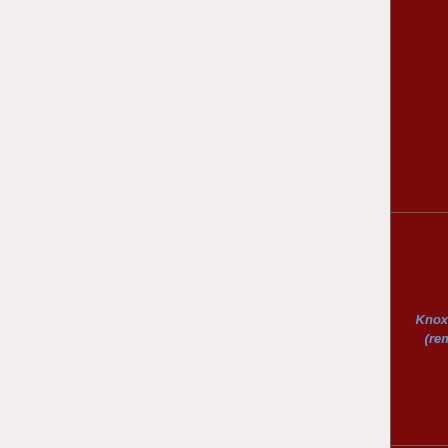| County/Category | Details |
| --- | --- |
|  | KY • Valley Station, KY • West Point, KY |
| Knox County (removed) | Downtown District • Forest • Northern Highway • Suburbs • Villas • Woods |
| Game Modes | House In The Woods • Kingsmouth Island • Knox County (remake) • |